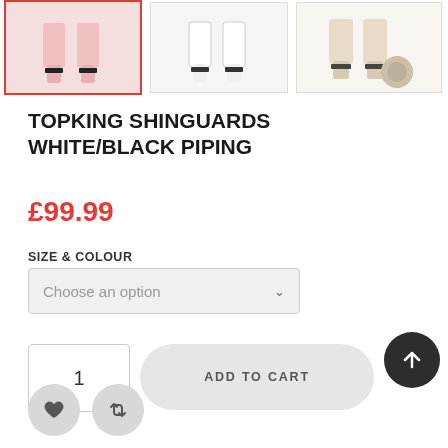[Figure (photo): Three thumbnail images of Topking shinguards. First thumbnail selected (red border) showing pink/white shinguards. Second showing white shinguards. Third showing beige/white shinguards with ankle guard.]
TOPKING SHINGUARDS WHITE/BLACK PIPING
£99.99
SIZE & COLOUR
Choose an option
1
ADD TO CART